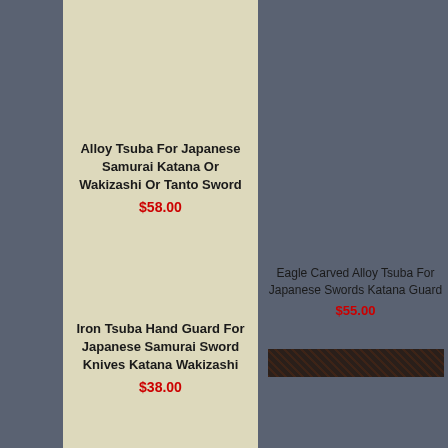Alloy Tsuba For Japanese Samurai Katana Or Wakizashi Or Tanto Sword
$58.00
Iron Tsuba Hand Guard For Japanese Samurai Sword Knives Katana Wakizashi
$38.00
Eagle Carved Alloy Tsuba For Japanese Swords Katana Guard
$55.00
[Figure (other): Dark textured woven material or fabric strip]